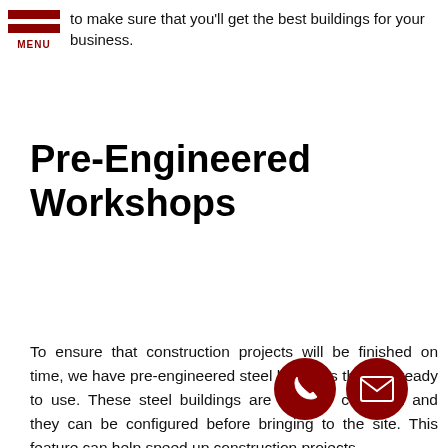to make sure that you'll get the best buildings for your business.
Pre-Engineered Workshops
To ensure that construction projects will be finished on time, we have pre-engineered steel buildings that are ready to use. These steel buildings are easy to construct and they can be configured before bringing to the site. This feature can help speed up construction projects